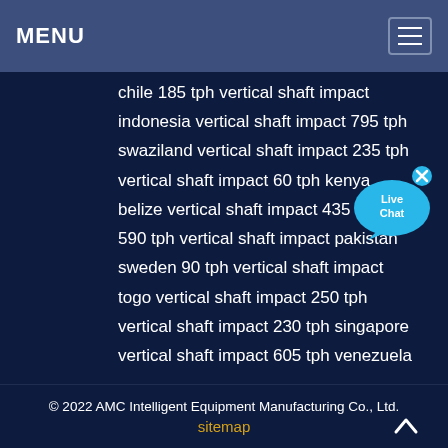MENU
chile 185 tph vertical shaft impact
indonesia vertical shaft impact 795 tph
swaziland vertical shaft impact 235 tph
vertical shaft impact 60 tph kenya
belize vertical shaft impact 435 tph
590 tph vertical shaft impact pakistan
sweden 90 tph vertical shaft impact
togo vertical shaft impact 250 tph
vertical shaft impact 230 tph singapore
vertical shaft impact 605 tph venezuela
[Figure (illustration): Live Chat bubble icon with blue speech bubble and 'x' close button]
© 2022 AMC Intelligent Equipment Manufacturing Co., Ltd.
sitemap